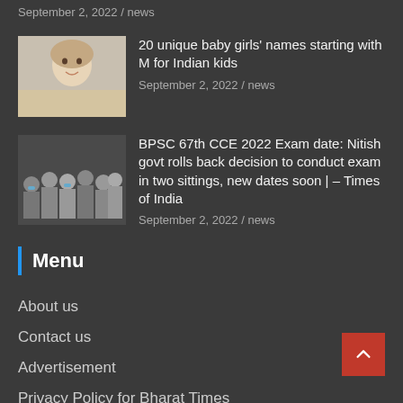September 2, 2022 / news
[Figure (photo): Photo of a smiling baby girl wearing a knitted hat]
20 unique baby girls' names starting with M for Indian kids
September 2, 2022 / news
[Figure (photo): Photo of a crowd of students/people]
BPSC 67th CCE 2022 Exam date: Nitish govt rolls back decision to conduct exam in two sittings, new dates soon | – Times of India
September 2, 2022 / news
Menu
About us
Contact us
Advertisement
Privacy Policy for Bharat Times
Disclaimer